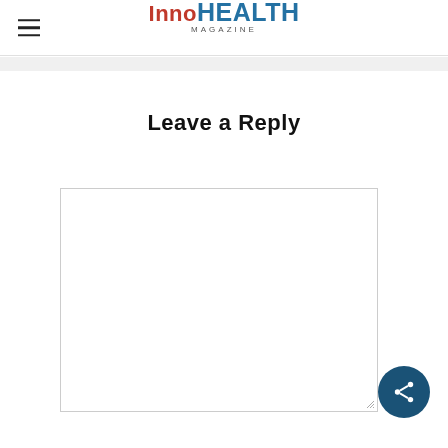InnoHEALTH MAGAZINE
Leave a Reply
[Figure (screenshot): Empty comment text area input box with resize handle at bottom right corner]
[Figure (other): Dark blue circular share button with share icon]